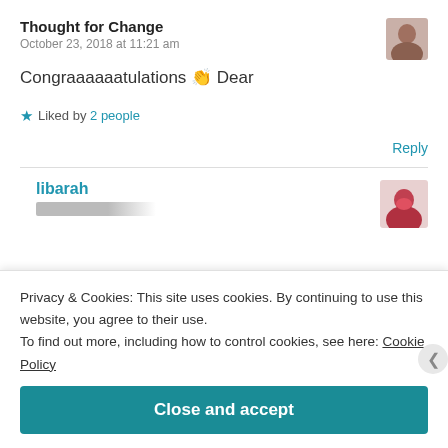Thought for Change
October 23, 2018 at 11:21 am
[Figure (photo): User avatar photo of commenter Thought for Change]
Congraaaaaatulations 👏 Dear
★ Liked by 2 people
Reply
libarah
[Figure (photo): User avatar photo of commenter libarah]
Privacy & Cookies: This site uses cookies. By continuing to use this website, you agree to their use.
To find out more, including how to control cookies, see here: Cookie Policy
Close and accept